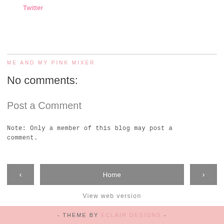Twitter
ME AND MY PINK MIXER
No comments:
Post a Comment
Note: Only a member of this blog may post a comment.
‹  Home  ›  View web version
- THEME BY ECLAIR DESIGNS -